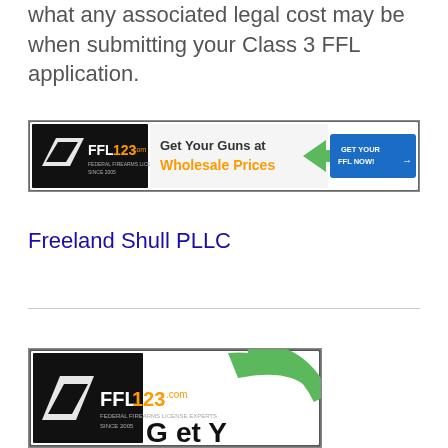what any associated legal cost may be when submitting your Class 3 FFL application.
[Figure (illustration): FFL123.com banner ad: logo on left, text 'Get Your Guns at Wholesale Prices' with green arrow, blue button 'GET YOUR FFL NOW!' on right, dark checkered border]
Freeland Shull PLLC
[Figure (illustration): FFL123.com partial banner ad at bottom: logo with FFL123.com text and green swoosh element visible, partially cropped]